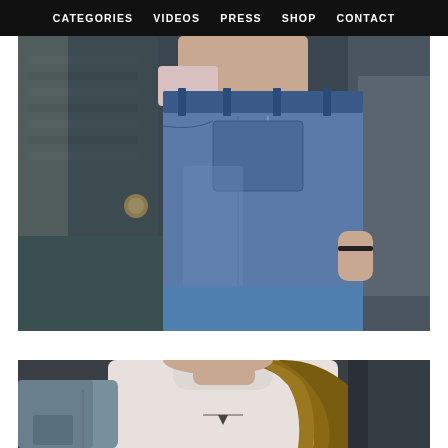CATEGORIES   VIDEOS   PRESS   SHOP   CONTACT
[Figure (photo): Side view of a person wearing low-rise wide-leg blue denim jeans with chain details hanging from belt loops, a light pink top pulled off one shoulder, and a bracelet on their wrist. Background shows a dark urban/brick wall exterior.]
[Figure (photo): Upper body of a woman wearing a white mock-neck fitted top and a denim jacket draped over her shoulder. She has long wavy brown hair. A small necklace is visible. Background is dark/blurred.]